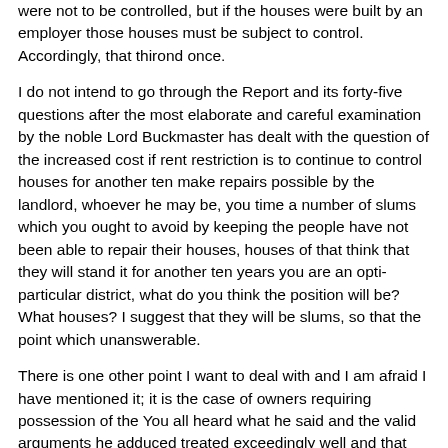were not to be controlled, but if the houses were built by an em- those houses must be subject to control. Accordingly, that thiro once.
I do not intend to go through the Report and its forty-five quest- after the most elaborate and careful examination by the noble Lord Buckmaster has dealt with the question of the increased c- if rent restriction is to continue to control houses for another te- make repairs possible by the landlord, whoever he may be, yo- time a number of slums which you ought to avoid by keeping t- people have not been able to repair their houses, houses of th- think that they will stand it for another ten years you are an opt- particular district, what do you think the position will be? What houses? I suggest that they will be slums, so that the point whi- unanswerable.
There is one other point I want to deal with and I am afraid I ha- mentioned it; it is the case of owners requiring possession of th- You all heard what he said and the valid arguments he adduced treated exceedingly well and that they should have some prior- the Committee recommended that in a certain number of case-